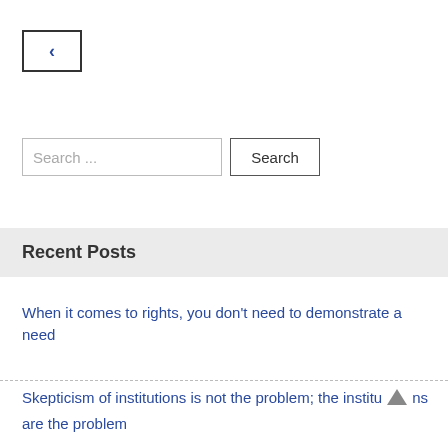[Figure (other): Back navigation button with left chevron arrow in a rectangular border]
[Figure (other): Search input field with placeholder text 'Search ...' and a Search button]
Recent Posts
When it comes to rights, you don't need to demonstrate a need
Skepticism of institutions is not the problem; the institutions are the problem